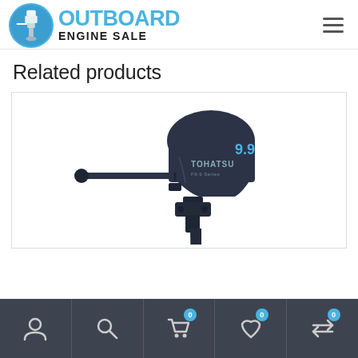Outboard Engine Sale - logo and navigation header
Related products
[Figure (photo): Tohatsu 9.9 HP outboard engine shown in profile view against white background, dark navy/black color with tiller handle extended to the left]
Navigation footer with icons: user account, search, cart (0), wishlist (0), compare (0)